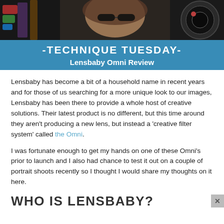[Figure (photo): Banner image showing a collage of a woman's face, camera lens, and colorful light effects. Over the image is a blue overlay bar reading '-TECHNIQUE TUESDAY- Lensbaby Omni Review']
Lensbaby has become a bit of a household name in recent years and for those of us searching for a more unique look to our images, Lensbaby has been there to provide a whole host of creative solutions. Their latest product is no different, but this time around they aren't producing a new lens, but instead a ‘creative filter system’ called the Omni.
I was fortunate enough to get my hands on one of these Omni’s prior to launch and I also had chance to test it out on a couple of portrait shoots recently so I thought I would share my thoughts on it here.
WHO IS LENSBABY?